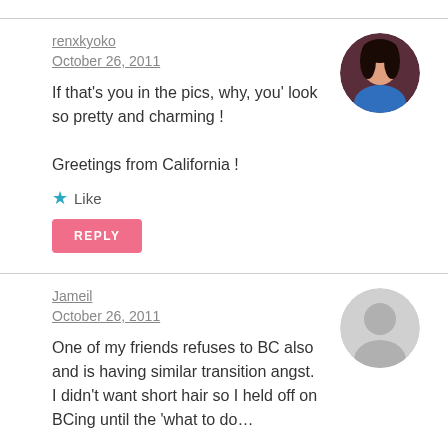renxkyoko
October 26, 2011
If that's you in the pics, why, you' look so pretty and charming !

Greetings from California !
Like
REPLY
Jameil
October 26, 2011
One of my friends refuses to BC also and is having similar transition angst. I didn't want short hair so I held off on BCing until the 'what to do…'